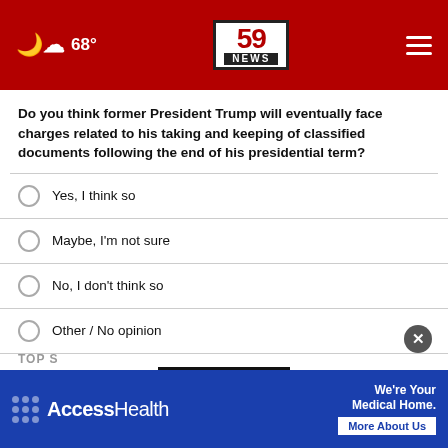59 NEWS | 68°
Do you think former President Trump will eventually face charges related to his taking and keeping of classified documents following the end of his presidential term?
Yes, I think so
Maybe, I'm not sure
No, I don't think so
Other / No opinion
NEXT *
* By clicking "NEXT" you agree to the following: We use cookies to track your survey answers. If you would like to continue with this survey, please read and agree to the CivicScience Privacy Policy and Terms of Service
TOP S
[Figure (logo): AccessHealth advertisement banner: We're Your Medical Home. More About Us]